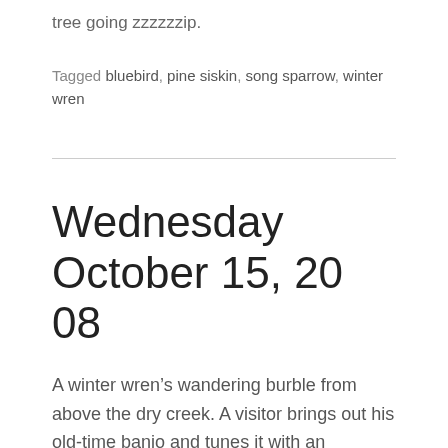tree going zzzzzzip.
Tagged bluebird, pine siskin, song sparrow, winter wren
Wednesday October 15, 2008
A winter wren’s wandering burble from above the dry creek. A visitor brings out his old-time banjo and tunes it with an electronic tuner.